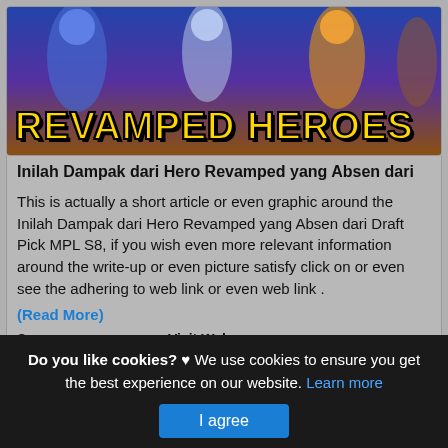[Figure (illustration): Banner image showing game characters (heroes) with text 'REVAMPED HEROES' in large yellow bold font over a dark game scene background]
Inilah Dampak dari Hero Revamped yang Absen dari
This is actually a short article or even graphic around the Inilah Dampak dari Hero Revamped yang Absen dari Draft Pick MPL S8, if you wish even more relevant information around the write-up or even picture satisfy click on or even see the adhering to web link or even web link .
(Read More)
Source: vcgamers.com Visit Web
[Figure (screenshot): Dark/black image area at bottom of card]
Do you like cookies? ♥ We use cookies to ensure you get the best experience on our website. Learn more
I agree